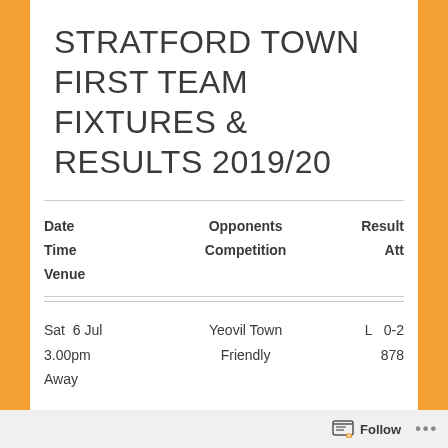STRATFORD TOWN FIRST TEAM FIXTURES & RESULTS 2019/20
| Date
Time
Venue | Opponents
Competition | Result
Att |
| --- | --- | --- |
| Sat  6 Jul
3.00pm
Away | Yeovil Town
Friendly | L   0-2
878 |
Follow ...